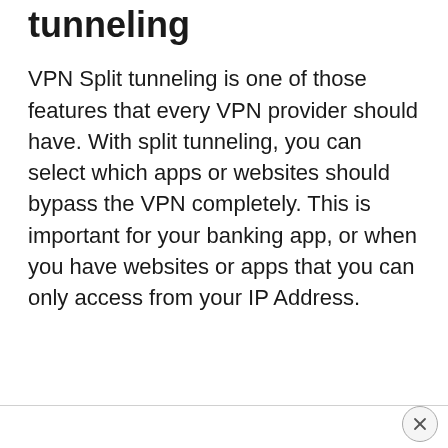tunneling
VPN Split tunneling is one of those features that every VPN provider should have. With split tunneling, you can select which apps or websites should bypass the VPN completely. This is important for your banking app, or when you have websites or apps that you can only access from your IP Address.